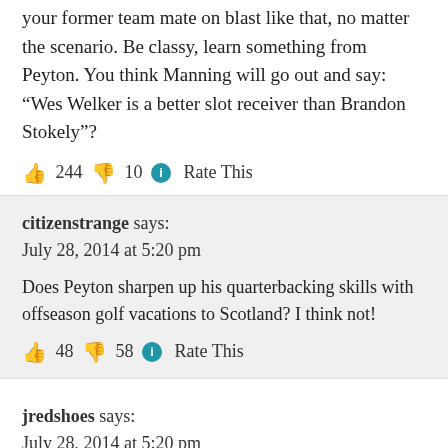your former team mate on blast like that, no matter the scenario. Be classy, learn something from Peyton. You think Manning will go out and say: “Wes Welker is a better slot receiver than Brandon Stokely”?
👍 244 👎 10 ⓘ Rate This
citizenstrange says:
July 28, 2014 at 5:20 pm
Does Peyton sharpen up his quarterbacking skills with offseason golf vacations to Scotland? I think not!
👍 48 👎 58 ⓘ Rate This
jredshoes says:
July 28, 2014 at 5:20 pm
Who cares what Sanders thinks. You can’t believe anything that he says anyway, just ask the Chiefs